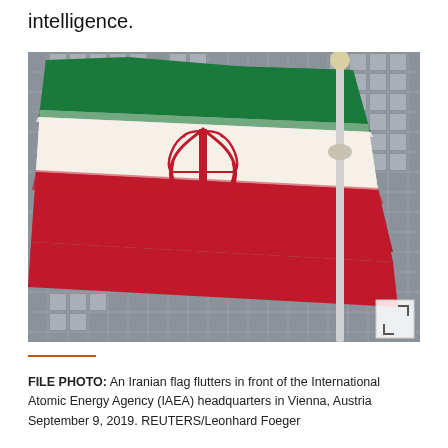intelligence.
[Figure (photo): An Iranian flag flutters in front of the International Atomic Energy Agency (IAEA) headquarters in Vienna, Austria. The flag shows the green, white, and red horizontal stripes with the Iranian emblem in the center. A flagpole is visible on the right side. The IAEA building's glass facade is visible in the background.]
FILE PHOTO: An Iranian flag flutters in front of the International Atomic Energy Agency (IAEA) headquarters in Vienna, Austria September 9, 2019. REUTERS/Leonhard Foeger